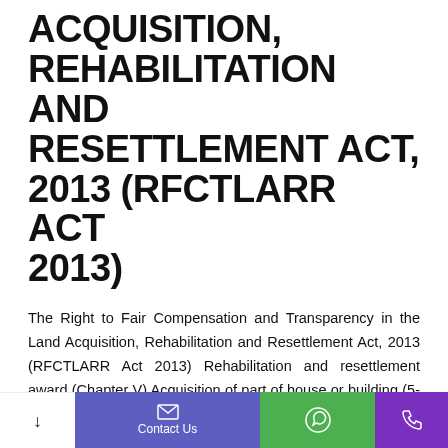ACQUISITION, REHABILITATION AND RESETTLEMENT ACT, 2013 (RFCTLARR ACT 2013)
The Right to Fair Compensation and Transparency in the Land Acquisition, Rehabilitation and Resettlement Act, 2013 (RFCTLARR Act 2013) Rehabilitation and resettlement award (Chapter V) Acquisition of part of house or building (5-9)
It states right to acquire private property for public
Contact Us